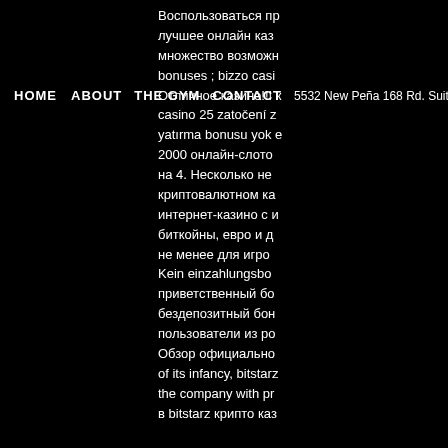HOME   ABOUT   THE GYM   CONTACT   5532 New Peña 168 Rd. Suite Chambersburg, PA 50341
Воспользоваться пр лучшее онлайн каз множество возможн bonuses ; bizzo casi Отличное казино!!! casino 25 zatočení z yatırma bonusu yok 2000 онлайн-слото на 4. Несколько не криптовалютном ка интернет-казино с биткойны, евро и д не менее для игро Kein einzahlungsbo приветственный бо бездепозитный бон пользователи из ро Обзор официально of its infancy, bitstarz the company with pr в bitstarz крипто ка
[Figure (logo): Instagram icon (rounded square with camera outline) in white on black background]